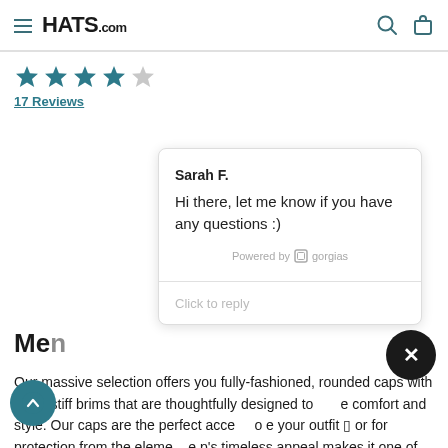HATS.com
[Figure (other): Star rating: 4 out of 5 stars]
17 Reviews
[Figure (screenshot): Chat popup from Gorgias: Sarah F. says 'Hi there, let me know if you have any questions :)'. Powered by gorgias. Click to reply.]
Me[n...]
Our massive selection offers you fully-fashioned, rounded caps with small stiff brims that are thoughtfully designed to enhance comfort and style. Our caps are the perfect accessory to complete your outfit — or for protection from the elements. The cap's timeless appeal makes it one of our most popular hats,